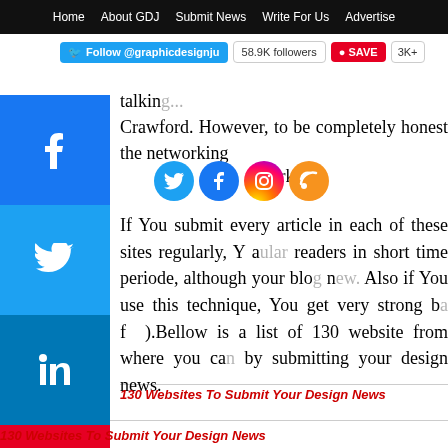Home  About GDJ  Submit News  Write For Us  Advertise
talking... Crawford. However, to be completely honest the networking just interesting to someone as interested networking n
130 Websites To Submit Your Design News
If You submit every article in each of these sites regularly, Y a ular readers in short time periode, although your blog new. Also if You use this technique, You get very strong ba f .Bellow is a list of 130 website from where you can by submitting your design news.
130 Websites To Submit Your Design News